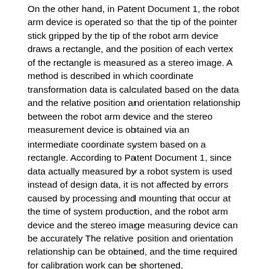On the other hand, in Patent Document 1, the robot arm device is operated so that the tip of the pointer stick gripped by the tip of the robot arm device draws a rectangle, and the position of each vertex of the rectangle is measured as a stereo image. A method is described in which coordinate transformation data is calculated based on the data and the relative position and orientation relationship between the robot arm device and the stereo measurement device is obtained via an intermediate coordinate system based on a rectangle. According to Patent Document 1, since data actually measured by a robot system is used instead of design data, it is not affected by errors caused by processing and mounting that occur at the time of system production, and the robot arm device and the stereo image measuring device can be accurately The relative position and orientation relationship can be obtained, and the time required for calibration work can be shortened.
JP-A-9-128549
However, in the method described in Patent Document 1, since the transformation matrix is calculated based on the measurement of the four vertices of the rectangle, the lon...